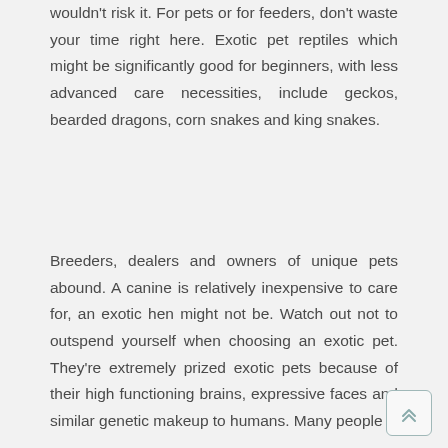wouldn't risk it. For pets or for feeders, don't waste your time right here. Exotic pet reptiles which might be significantly good for beginners, with less advanced care necessities, include geckos, bearded dragons, corn snakes and king snakes.
Breeders, dealers and owners of unique pets abound. A canine is relatively inexpensive to care for, an exotic hen might not be. Watch out not to outspend yourself when choosing an exotic pet. They're extremely prized exotic pets because of their high functioning brains, expressive faces and similar genetic makeup to humans. Many people